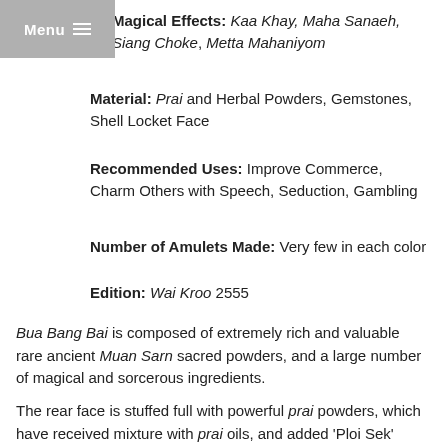Menu
Magical Effects: Kaa Khay, Maha Sanaeh, Siang Choke, Metta Mahaniyom
Material: Prai and Herbal Powders, Gemstones, Shell Locket Face
Recommended Uses: Improve Commerce, Charm Others with Speech, Seduction, Gambling
Number of Amulets Made: Very few in each color
Edition: Wai Kroo 2555
Bua Bang Bai is composed of extremely rich and valuable rare ancient Muan Sarn sacred powders, and a large number of magical and sorcerous ingredients.
The rear face is stuffed full with powerful prai powders, which have received mixture with prai oils, and added 'Ploi Sek' (enchanted gemstones of rare sorts) with more than one...